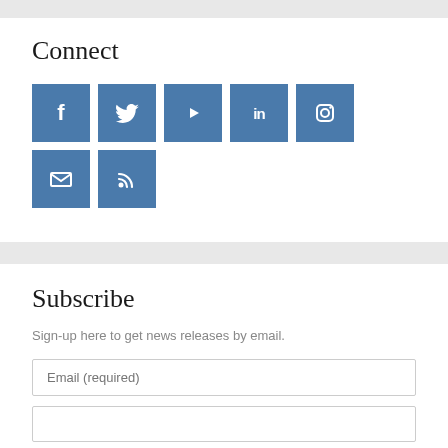Connect
[Figure (infographic): Seven social media icon buttons in blue squares: Facebook (f), Twitter (bird), YouTube (play button), LinkedIn (in), Instagram (camera), Email (envelope), RSS (wifi/signal waves)]
Subscribe
Sign-up here to get news releases by email.
Email (required)